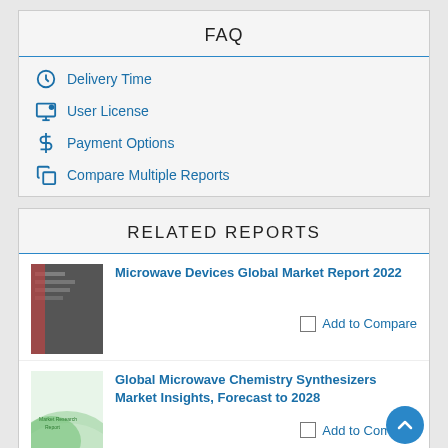FAQ
Delivery Time
User License
Payment Options
Compare Multiple Reports
RELATED REPORTS
Microwave Devices Global Market Report 2022
Add to Compare
Global Microwave Chemistry Synthesizers Market Insights, Forecast to 2028
Add to Compare